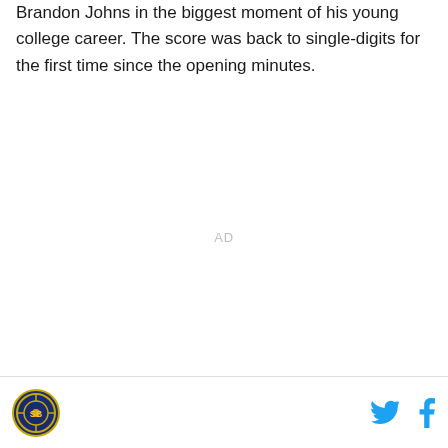Brandon Johns in the biggest moment of his young college career. The score was back to single-digits for the first time since the opening minutes.
AD
[logo] [twitter] [facebook]